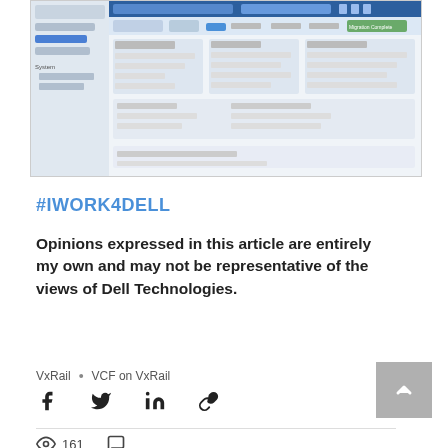[Figure (screenshot): Screenshot of a VMware/VxRail migration interface showing migration tasks, status panels, and configuration details including Migration Complete status.]
#IWORK4DELL
Opinions expressed in this article are entirely my own and may not be representative of the views of Dell Technologies.
VxRail  •  VCF on VxRail
[Figure (infographic): Social share icons: Facebook, Twitter, LinkedIn, Link]
[Figure (infographic): Back to top button (gray box with upward chevron)]
[Figure (infographic): View count: eye icon with 161, comment icon, heart/like icon]